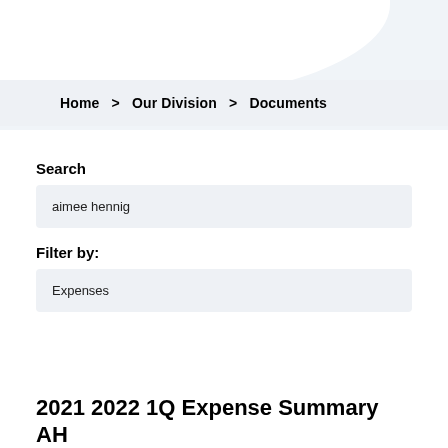Home  >  Our Division  >  Documents
Search
aimee hennig
Filter by:
Expenses
2021 2022 1Q Expense Summary AH